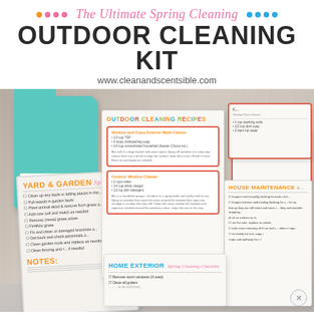The Ultimate Spring Cleaning OUTDOOR CLEANING KIT
www.cleanandscentsible.com
[Figure (photo): Photo of spring cleaning kit materials spread on a wooden surface including a teal folder, outdoor cleaning recipes cards, yard and garden checklist, home exterior checklist, and house maintenance checklist cards]